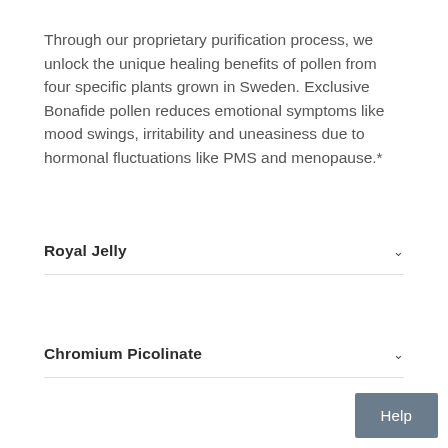Through our proprietary purification process, we unlock the unique healing benefits of pollen from four specific plants grown in Sweden. Exclusive Bonafide pollen reduces emotional symptoms like mood swings, irritability and uneasiness due to hormonal fluctuations like PMS and menopause.*
Royal Jelly
Chromium Picolinate
Help